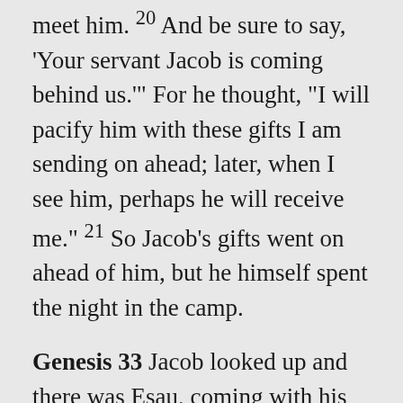meet him. ²⁰ And be sure to say, ‘Your servant Jacob is coming behind us.’” For he thought, “I will pacify him with these gifts I am sending on ahead; later, when I see him, perhaps he will receive me.” ²¹ So Jacob’s gifts went on ahead of him, but he himself spent the night in the camp.
Genesis 33 Jacob looked up and there was Esau, coming with his four hundred men; so he divided the children among Leah, Rachel and the two female servants. ² He put the female servants and their children in front, Leah and her children next, and Rachel and Joseph in the rear. ³ He himself went on ahead and bowed down to the ground seven times as